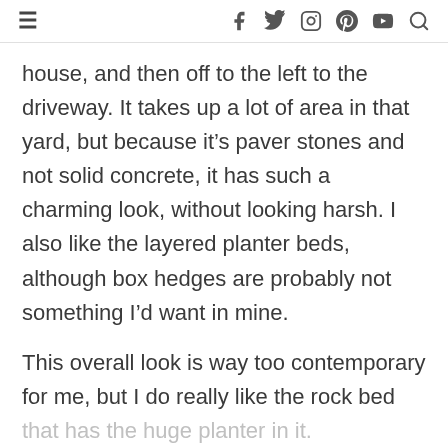≡  f  𝕏  ◎  ⊕  ▶  🔍
house, and then off to the left to the driveway. It takes up a lot of area in that yard, but because it's paver stones and not solid concrete, it has such a charming look, without looking harsh. I also like the layered planter beds, although box hedges are probably not something I'd want in mine.
This overall look is way too contemporary for me, but I do really like the rock bed that has the huge planter in it.